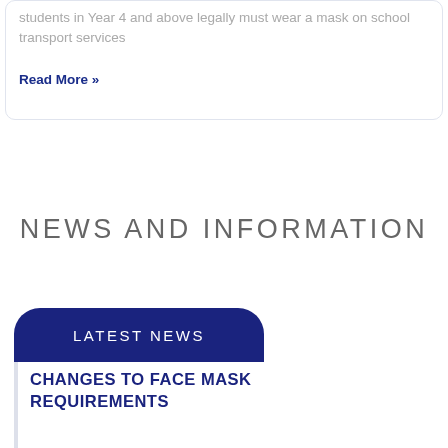students in Year 4 and above legally must wear a mask on school transport services
Read More »
NEWS AND INFORMATION
LATEST NEWS
CHANGES TO FACE MASK REQUIREMENTS